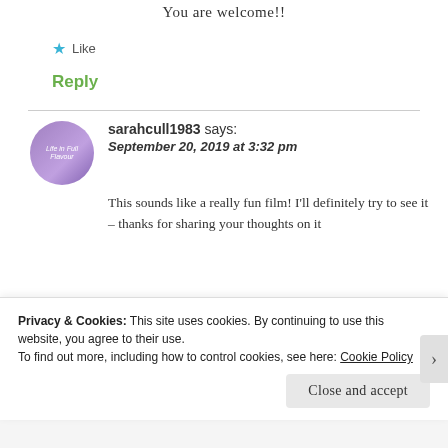You are welcome!!
★ Like
Reply
sarahcull1983 says: September 20, 2019 at 3:32 pm
This sounds like a really fun film! I'll definitely try to see it – thanks for sharing your thoughts on it
Privacy & Cookies: This site uses cookies. By continuing to use this website, you agree to their use.
To find out more, including how to control cookies, see here: Cookie Policy
Close and accept